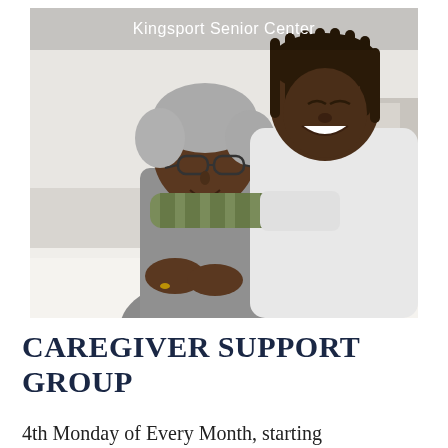[Figure (photo): Two women smiling and hugging, an older woman with grey hair and glasses seated at a white table, and a younger woman leaning over her with arms around her shoulders. Text overlay reads 'Kingsport Senior Center' in white at the top.]
CAREGIVER SUPPORT GROUP
4th Monday of Every Month, starting